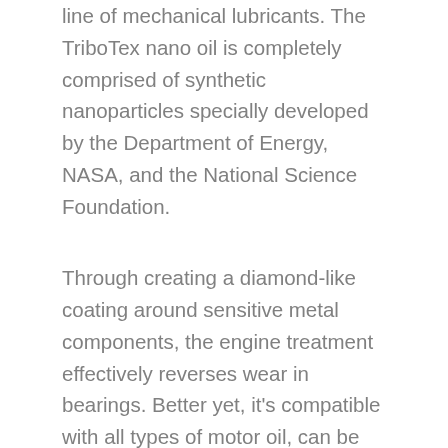line of mechanical lubricants. The TriboTex nano oil is completely comprised of synthetic nanoparticles specially developed by the Department of Energy, NASA, and the National Science Foundation.
Through creating a diamond-like coating around sensitive metal components, the engine treatment effectively reverses wear in bearings. Better yet, it's compatible with all types of motor oil, can be used with diesel and gas engines, and heals even the most stubborn noise-causing damage.
Third-party, unaffiliated testing has established that the TriboTex nano oil effectively improves fuel consumption and greatly diminishes engine noise. If, for whatever reason, you aren't satisfied, you can rest assured knowing that the additive comes with a no-questions...